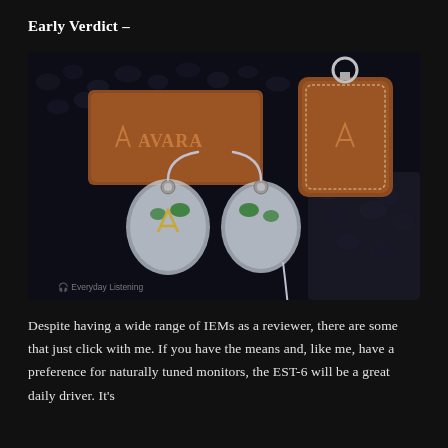Early Verdict –
[Figure (photo): Photo of Avara EST-6 in-ear monitors (IEMs) with clear shells and green accents, shown alongside a brown leather Avara branded case and matching brown leather keychain fob, all arranged on a dark surface of black pebbles. Watermark reads 'Everyday Listening'.]
Despite having a wide range of IEMs as a reviewer, there are some that just click with me. If you have the means and, like me, have a preference for naturally tuned monitors, the EST-6 will be a great daily driver. It's